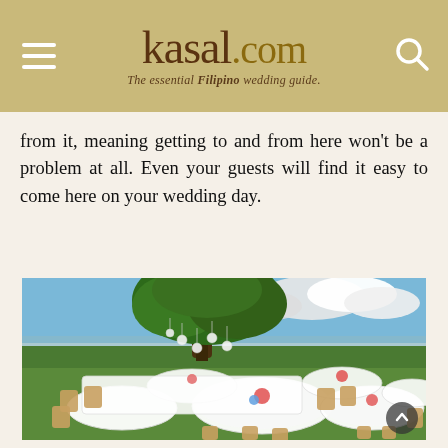kasal.com — The essential Filipino wedding guide
from it, meaning getting to and from here won't be a problem at all. Even your guests will find it easy to come here on your wedding day.
[Figure (photo): Outdoor wedding reception setup on a green lawn with round tables draped in white linen, wooden folding chairs, colorful floral centerpieces, a large tree with hanging globe decorations, and a scenic view of water and cloudy sky in the background.]